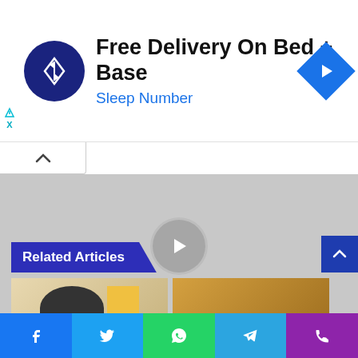[Figure (screenshot): Advertisement banner: Sleep Number - Free Delivery On Bed + Base, with circular dark blue logo with up/down arrow icon and blue diamond arrow icon on right]
[Figure (screenshot): News article slideshow with gray placeholder image, circular play/next button, and article title: Kagawa's absence 'no problem' for Japan vs Oman]
Kagawa’s absence ‘no problem’ for Japan vs Oman
Related Articles
[Figure (photo): Two related article thumbnail images side by side, partially visible at page bottom]
[Figure (screenshot): Social sharing bottom navigation bar with Facebook, Twitter, WhatsApp, Telegram, and phone icons]